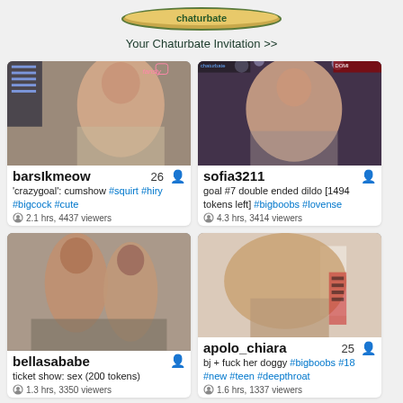[Figure (illustration): Chaturbate banner with logo and invitation link text]
Your Chaturbate Invitation >>
[Figure (photo): Webcam thumbnail for barsIkmeow]
barsIkmeow 26 | 'crazygoal': cumshow #squirt #hiry #bigcock #cute | 2.1 hrs, 4437 viewers
[Figure (photo): Webcam thumbnail for sofia3211]
sofia3211 | goal #7 double ended dildo [1494 tokens left] #bigboobs #lovense | 4.3 hrs, 3414 viewers
[Figure (photo): Webcam thumbnail for bellasababe]
bellasababe | ticket show: sex (200 tokens) | 1.3 hrs, 3350 viewers
[Figure (photo): Webcam thumbnail for apolo_chiara]
apolo_chiara 25 | bj + fuck her doggy #bigboobs #18 #new #teen #deepthroat | 1.6 hrs, 1337 viewers